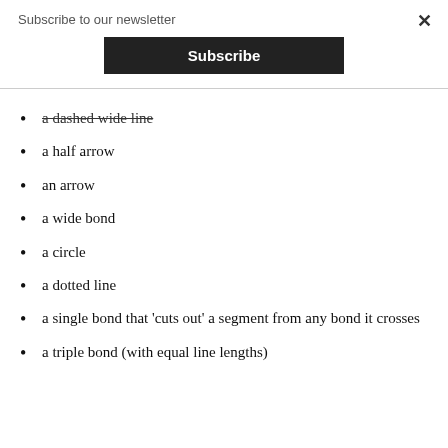Subscribe to our newsletter
a dashed wide line
a half arrow
an arrow
a wide bond
a circle
a dotted line
a single bond that 'cuts out' a segment from any bond it crosses
a triple bond (with equal line lengths)